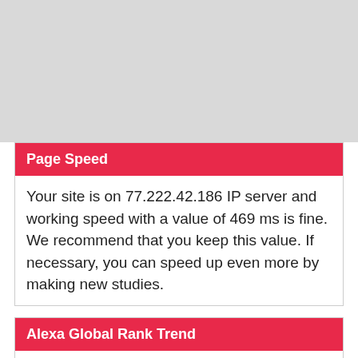[Figure (other): Gray placeholder block at the top of the page]
Page Speed
Your site is on 77.222.42.186 IP server and working speed with a value of 469 ms is fine. We recommend that you keep this value. If necessary, you can speed up even more by making new studies.
Alexa Global Rank Trend
[Figure (other): Broken image placeholder for Alexa Global Rank Trend chart]
Helpful Articles